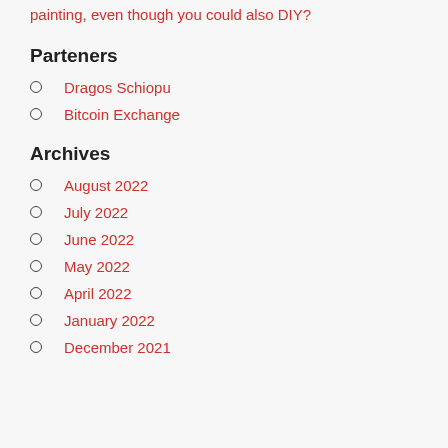painting, even though you could also DIY?
Parteners
Dragos Schiopu
Bitcoin Exchange
Archives
August 2022
July 2022
June 2022
May 2022
April 2022
January 2022
December 2021